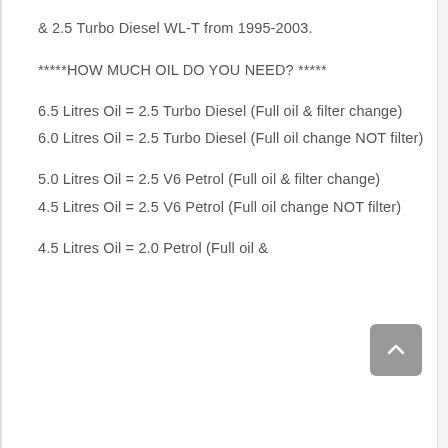& 2.5 Turbo Diesel WL-T from 1995-2003.
*****HOW MUCH OIL DO YOU NEED? *****
6.5 Litres Oil = 2.5 Turbo Diesel (Full oil & filter change)
6.0 Litres Oil = 2.5 Turbo Diesel (Full oil change NOT filter)
5.0 Litres Oil = 2.5 V6 Petrol (Full oil & filter change)
4.5 Litres Oil = 2.5 V6 Petrol (Full oil change NOT filter)
4.5 Litres Oil = 2.0 Petrol (Full oil &